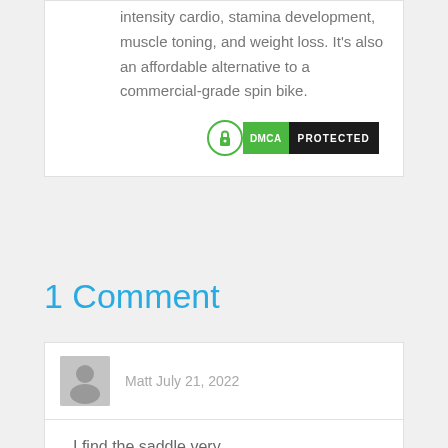intensity cardio, stamina development, muscle toning, and weight loss. It's also an affordable alternative to a commercial-grade spin bike.
[Figure (logo): DMCA Protected badge with green lock icon, green DMCA label, and black PROTECTED label]
1 Comment
Matt  July 21, 2022
I find the saddle very